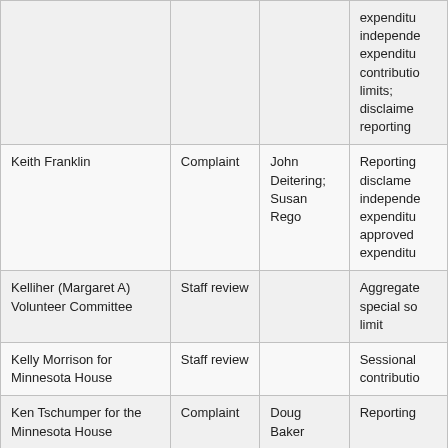| Name | Type | Complainant | Subject |
| --- | --- | --- | --- |
|  |  |  | expenditu
independe
expenditu
contributio
limits;
disclame
reporting |
| Keith Franklin | Complaint | John Deitering;
Susan Rego | Reporting
disclame
independe
expenditu
approved
expenditu |
| Kelliher (Margaret A) Volunteer Committee | Staff review |  | Aggregate
special so
limit |
| Kelly Morrison for Minnesota House | Staff review |  | Sessional
contributio |
| Ken Tschumper for the Minnesota House | Complaint | Doug Baker | Reporting |
| Kevin Dahle for Senate | Complaint | Republican Party of Minnesota | Independ
expenditu
approved |